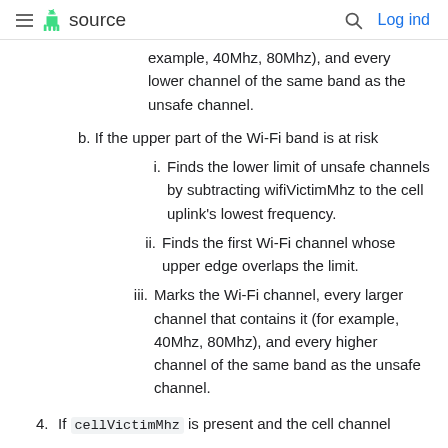≡ 🤖 source   🔍 Log ind
example, 40Mhz, 80Mhz), and every lower channel of the same band as the unsafe channel.
b. If the upper part of the Wi-Fi band is at risk
i. Finds the lower limit of unsafe channels by subtracting wifiVictimMhz to the cell uplink's lowest frequency.
ii. Finds the first Wi-Fi channel whose upper edge overlaps the limit.
iii. Marks the Wi-Fi channel, every larger channel that contains it (for example, 40Mhz, 80Mhz), and every higher channel of the same band as the unsafe channel.
4. If cellVictimMhz is present and the cell channel